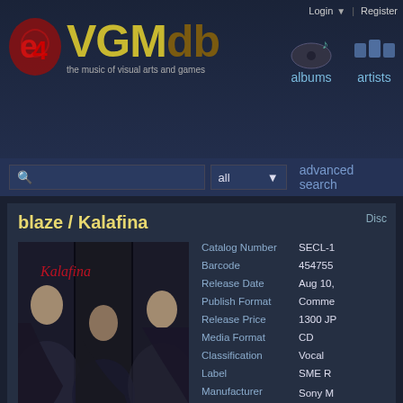[Figure (screenshot): VGMdb website header with logo, albums and artists navigation icons]
Login | Register
blaze / Kalafina
[Figure (photo): Album cover for blaze by Kalafina showing three women with smoke effects against dark background]
| Field | Value |
| --- | --- |
| Catalog Number | SECL-1... |
| Barcode | 454755... |
| Release Date | Aug 10,... |
| Publish Format | Comme... |
| Release Price | 1300 JP... |
| Media Format | CD |
| Classification | Vocal |
| Label | SME R... |
| Manufacturer | Sony M... Labels ... |
| Distributor | Sony M... Market... |